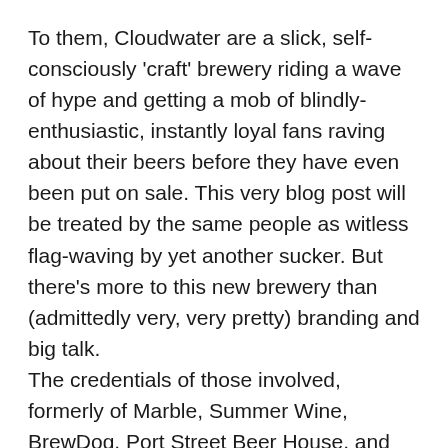To them, Cloudwater are a slick, self-consciously 'craft' brewery riding a wave of hype and getting a mob of blindly-enthusiastic, instantly loyal fans raving about their beers before they have even been put on sale. This very blog post will be treated by the same people as witless flag-waving by yet another sucker. But there's more to this new brewery than (admittedly very, very pretty) branding and big talk.
The credentials of those involved, formerly of Marble, Summer Wine, BrewDog, Port Street Beer House, and others, isn't under any doubt. Early tastings of the first batches brewed on Cloudwater's kit are almost universally favourable. So what's so controversial? The brewery's output and designs for the future are unquestionably at odds with traditional brewing industry. That doesn't mean